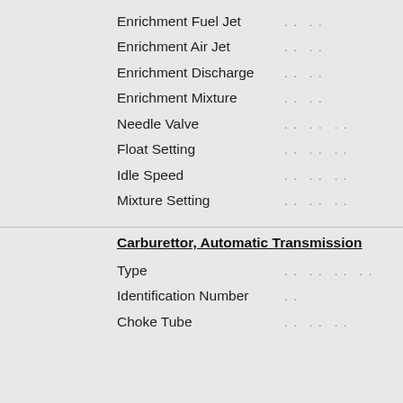Enrichment Fuel Jet .. ..
Enrichment Air Jet .. ..
Enrichment Discharge .. ..
Enrichment Mixture .. ..
Needle Valve .. .. ..
Float Setting .. .. ..
Idle Speed .. .. ..
Mixture Setting .. .. ..
Carburettor, Automatic Transmission
Type .. .. .. ..
Identification Number .. ..
Choke Tube .. .. ..